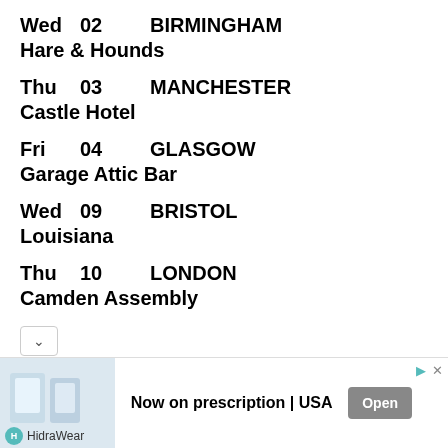Wed  02  BIRMINGHAM
Hare & Hounds
Thu  03  MANCHESTER
Castle Hotel
Fri  04  GLASGOW
Garage Attic Bar
Wed  09  BRISTOL
Louisiana
Thu  10  LONDON
Camden Assembly
[Figure (infographic): Advertisement for HidraWear product with text 'Now on prescription | USA' and an Open button. Shows product image on left, HidraWear logo at bottom.]